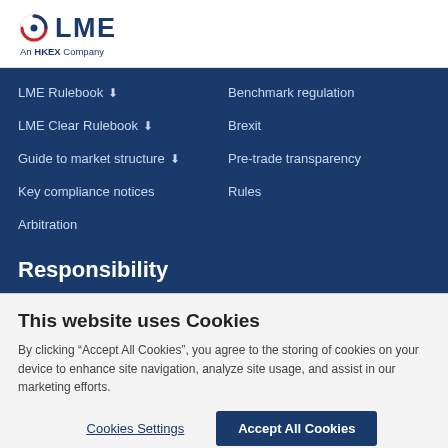[Figure (logo): LME logo with circle icon and 'An HKEX Company' subtitle]
LME Rulebook ⬇
Benchmark regulation
LME Clear Rulebook ⬇
Brexit
Guide to market structure ⬇
Pre-trade transparency
Key compliance notices
Rules
Arbitration
Responsibility
This website uses Cookies
By clicking “Accept All Cookies”, you agree to the storing of cookies on your device to enhance site navigation, analyze site usage, and assist in our marketing efforts.
Cookies Settings
Accept All Cookies